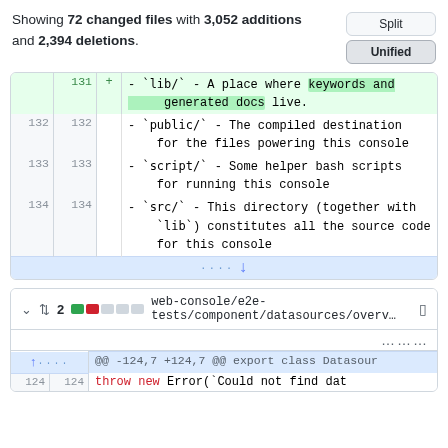Showing 72 changed files with 3,052 additions and 2,394 deletions.
Split / Unified buttons
| old | new | diff | code |
| --- | --- | --- | --- |
|  | 131 | + | - `lib/` - A place where keywords and generated docs live. |
| 132 | 132 |  | - `public/` - The compiled destination for the files powering this console |
| 133 | 133 |  | - `script/` - Some helper bash scripts for running this console |
| 134 | 134 |  | - `src/` - This directory (together with `lib`) constitutes all the source code for this console |
expand row (...)
web-console/e2e-tests/component/datasources/overv...
2 changed, diff pills
...
@@ -124,7 +124,7 @@ export class Datasour
124  124  throw new Error(`Could not find dat